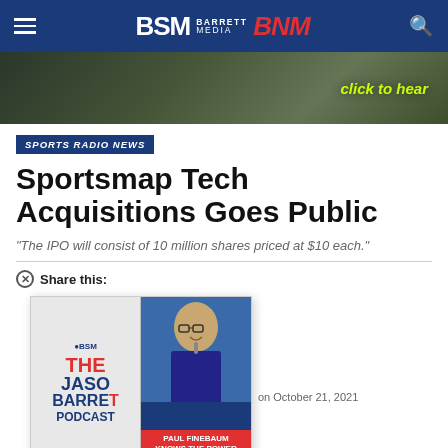BSM BARRETT MEDIA BNM
[Figure (illustration): Dark hero banner with silhouetted crowd/foliage and 'click to hear' text in yellow-green]
SPORTS RADIO NEWS
Sportsmap Tech Acquisitions Goes Public
"The IPO will consist of 10 million shares priced at $10 each."
Share this:
[Figure (illustration): Popup ad showing The Jason Barrett Podcast on left (red/blue) and Paul Finebaum photo on right with text 'PAUL FINEBAUM KNOWS THE POWER OF THE LISTENERS' on red banner]
on October 21, 2021